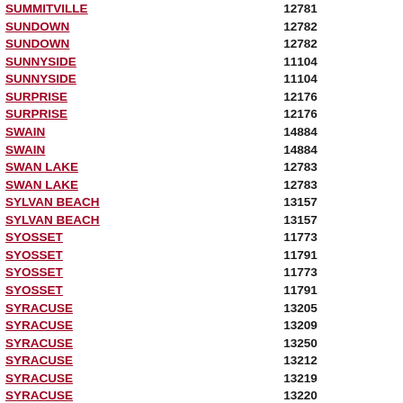| City/Place | ZIP Code |
| --- | --- |
| SUMMITVILLE | 12781 |
| SUNDOWN | 12782 |
| SUNDOWN | 12782 |
| SUNNYSIDE | 11104 |
| SUNNYSIDE | 11104 |
| SURPRISE | 12176 |
| SURPRISE | 12176 |
| SWAIN | 14884 |
| SWAIN | 14884 |
| SWAN LAKE | 12783 |
| SWAN LAKE | 12783 |
| SYLVAN BEACH | 13157 |
| SYLVAN BEACH | 13157 |
| SYOSSET | 11773 |
| SYOSSET | 11791 |
| SYOSSET | 11773 |
| SYOSSET | 11791 |
| SYRACUSE | 13205 |
| SYRACUSE | 13209 |
| SYRACUSE | 13250 |
| SYRACUSE | 13212 |
| SYRACUSE | 13219 |
| SYRACUSE | 13220 |
| SYRACUSE | 13214 |
| SYRACUSE | 13207 |
| SYRACUSE | 13208 |